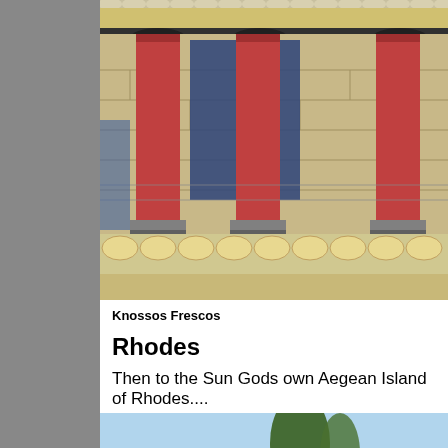[Figure (photo): Photo of Knossos Frescos showing ancient Minoan columns (red/terracotta colored) with black capitals on a reconstructed portico, with stone wall background and decorative fresco panels visible]
Knossos Frescos
Rhodes
Then to the Sun Gods own Aegean Island of Rhodes....
[Figure (photo): Partial photo of Rhodes showing trees and ancient ruins against a light blue sky]